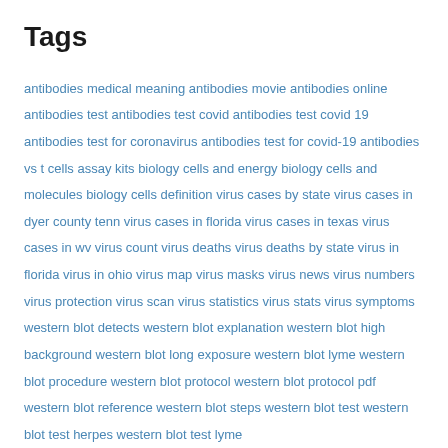Tags
antibodies medical meaning antibodies movie antibodies online antibodies test antibodies test covid antibodies test covid 19 antibodies test for coronavirus antibodies test for covid-19 antibodies vs t cells assay kits biology cells and energy biology cells and molecules biology cells definition virus cases by state virus cases in dyer county tenn virus cases in florida virus cases in texas virus cases in wv virus count virus deaths virus deaths by state virus in florida virus in ohio virus map virus masks virus news virus numbers virus protection virus scan virus statistics virus stats virus symptoms western blot detects western blot explanation western blot high background western blot long exposure western blot lyme western blot procedure western blot protocol western blot protocol pdf western blot reference western blot steps western blot test western blot test herpes western blot test lyme